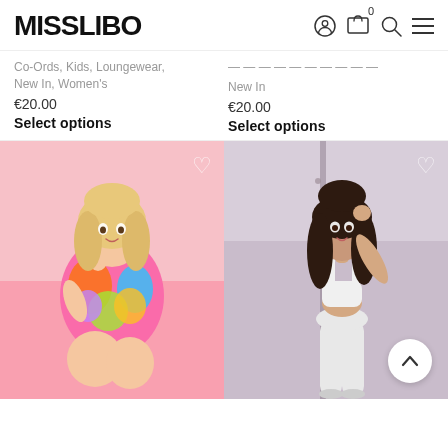MISSLIBO
Co-Ords, Kids, Loungewear, New In, Women's
€20.00
Select options
New In
€20.00
Select options
[Figure (photo): Blonde woman wearing colorful floral/tropical print pink short-sleeved shirt and shorts, seated against a pink background. Heart/wishlist icon in top-right corner.]
[Figure (photo): Dark-haired woman wearing white crop top sports bra and white leggings, standing in front of a mauve/lilac background. Heart/wishlist icon in top-right corner. Scroll-to-top button in bottom-right corner.]